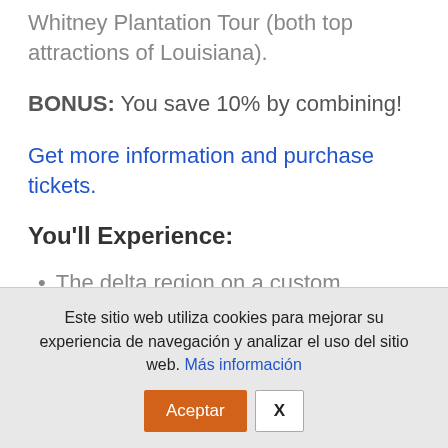Whitney Plantation Tour (both top attractions of Louisiana).
BONUS: You save 10% by combining!
Get more information and purchase tickets.
You'll Experience:
The delta region on a custom
Este sitio web utiliza cookies para mejorar su experiencia de navegación y analizar el uso del sitio web. Más información
Aceptar | X